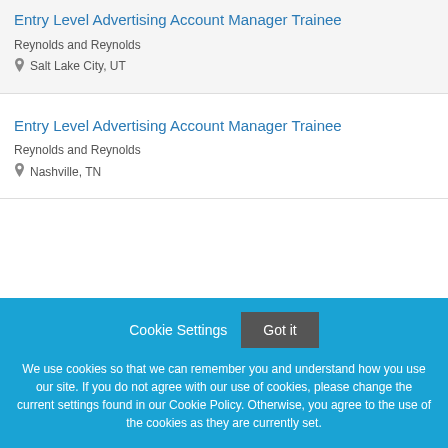Entry Level Advertising Account Manager Trainee
Reynolds and Reynolds
Salt Lake City, UT
Entry Level Advertising Account Manager Trainee
Reynolds and Reynolds
Nashville, TN
Cookie Settings
Got it
We use cookies so that we can remember you and understand how you use our site. If you do not agree with our use of cookies, please change the current settings found in our Cookie Policy. Otherwise, you agree to the use of the cookies as they are currently set.